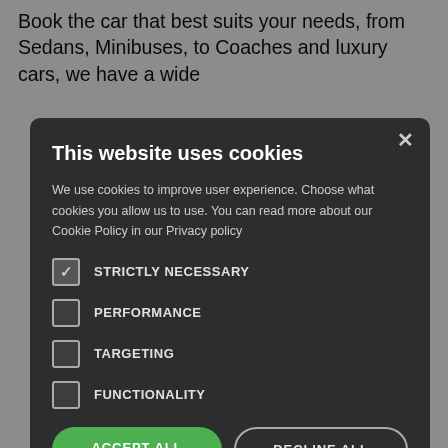Book the car that best suits your needs, from Sedans, Minibuses, to Coaches and luxury cars, we have a wide
port.
ce of luggage avelling with 6 vehicle with
r meet t?
s hall of the ame on it. You d you won't u will travel
[Figure (screenshot): Cookie consent dialog overlay on a website. Dark rounded rectangle dialog reading 'This website uses cookies' with description text, checkboxes for STRICTLY NECESSARY (checked), PERFORMANCE, TARGETING, FUNCTIONALITY, and buttons: ACCEPT ALL (green), DECLINE ALL (outline), and SHOW DETAILS link with gear icon. An X close button is in the top-right corner of the dialog.]